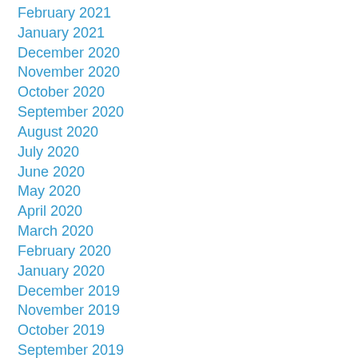February 2021
January 2021
December 2020
November 2020
October 2020
September 2020
August 2020
July 2020
June 2020
May 2020
April 2020
March 2020
February 2020
January 2020
December 2019
November 2019
October 2019
September 2019
August 2019
July 2019
June 2019